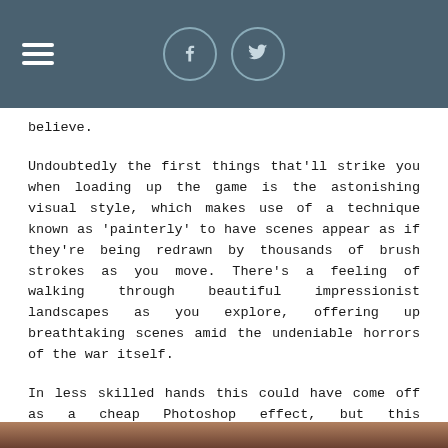[hamburger menu icon] [Facebook icon] [Twitter icon]
believe.
Undoubtedly the first things that’ll strike you when loading up the game is the astonishing visual style, which makes use of a technique known as ‘painterly’ to have scenes appear as if they’re being redrawn by thousands of brush strokes as you move. There’s a feeling of walking through beautiful impressionist landscapes as you explore, offering up breathtaking scenes amid the undeniable horrors of the war itself.
In less skilled hands this could have come off as a cheap Photoshop effect, but this collaboration between Aardman Digital (who, contrary to popular belief, work with more than just clay) and DigixArt creates a sublime combination of technical prowess and artistic flair. They’ve crafted a truly unique style which impressively manages to adapt to a variety of locations and climates throughout the game’s course.
[Figure (photo): Bottom strip of a photograph visible at the bottom edge of the page, showing warm reddish-brown tones.]